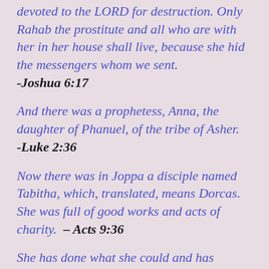devoted to the LORD for destruction. Only Rahab the prostitute and all who are with her in her house shall live, because she hid the messengers whom we sent.  -Joshua 6:17
And there was a prophetess, Anna, the daughter of Phanuel, of the tribe of Asher.  -Luke 2:36
Now there was in Joppa a disciple named Tabitha, which, translated, means Dorcas. She was full of good works and acts of charity.  – Acts 9:36
She has done what she could and has anointed my body for burial ahead of time. I tell you the truth, wherever the Good News is